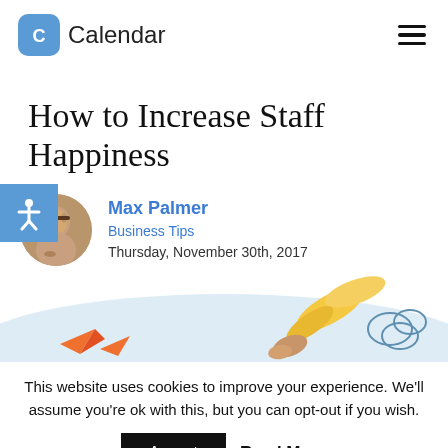Calendar
How to Increase Staff Happiness
Max Palmer
Business Tips
Thursday, November 30th, 2017
[Figure (illustration): Decorative article illustration showing paper airplanes, feathers/leaves, and a hand, in orange, yellow, and blue tones on a light blue background]
This website uses cookies to improve your experience. We'll assume you're ok with this, but you can opt-out if you wish.
Accept  Read More